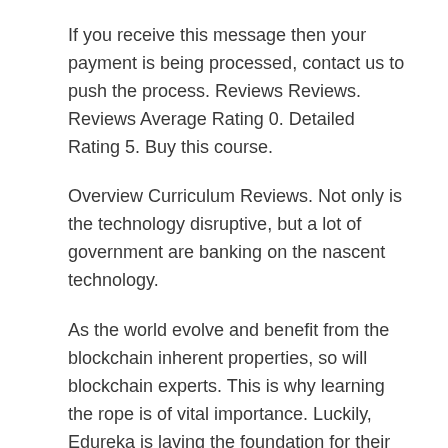If you receive this message then your payment is being processed, contact us to push the process. Reviews Reviews. Reviews Average Rating 0. Detailed Rating 5. Buy this course.
Overview Curriculum Reviews. Not only is the technology disruptive, but a lot of government are banking on the nascent technology.
As the world evolve and benefit from the blockchain inherent properties, so will blockchain experts. This is why learning the rope is of vital importance. Luckily, Edureka is laying the foundation for their students.
However, Blockchain Certification Training is best suited from finance professionals and software developers. All you need is basic knowledge of Command line and Linux. From the Blockchain Certification Training , learning how Ethereum works will fast track your smart contract and